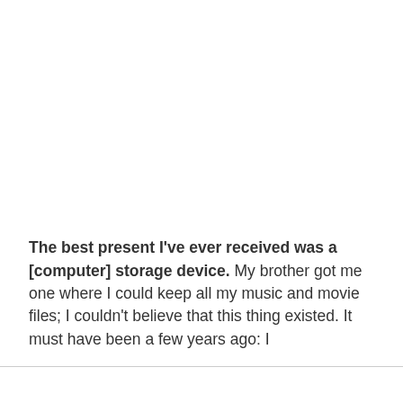The best present I've ever received was a [computer] storage device. My brother got me one where I could keep all my music and movie files; I couldn't believe that this thing existed. It must have been a few years ago: I